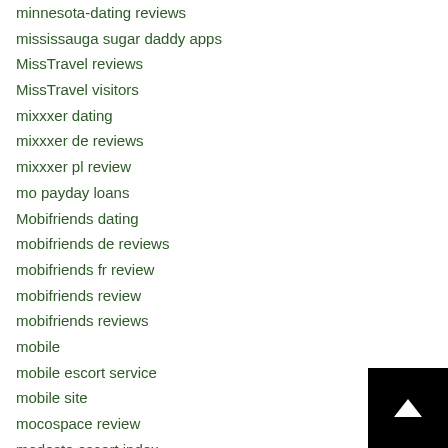minnesota-dating reviews
mississauga sugar daddy apps
MissTravel reviews
MissTravel visitors
mixxxer dating
mixxxer de reviews
mixxxer pl review
mo payday loans
Mobifriends dating
mobifriends de reviews
mobifriends fr review
mobifriends review
mobifriends reviews
mobile
mobile escort service
mobile site
mocospace review
modesto escort index
modesto escort near me